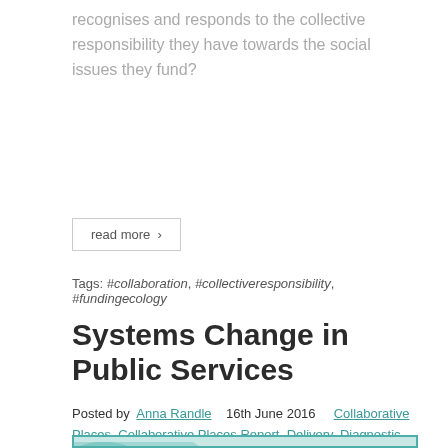recognises and responds to the collective responsibility they have towards the social issues they fund?
read more >
Tags: #collaboration, #collectiveresponsibility, #fundingecology
Systems Change in Public Services
Posted by Anna Randle  16th June 2016  Collaborative Places, Collaborative Places Report, Delivery, Diagnostic, Readiness, Report
[Figure (illustration): Preview image for 'Systems Change in Public Services' showing teal/turquoise geometric shapes on a light background with centered teal text reading 'Systems Change in Public Services']